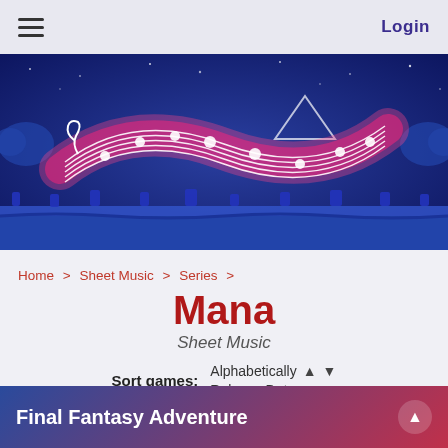Login
[Figure (illustration): Decorative banner showing a glowing pink/red musical staff with notes flowing in a wave shape, against a dark blue night sky background with pixel-art characters at the bottom]
Home > Sheet Music > Series >
Mana
Sheet Music
Sort games: Alphabetically ^ v Release Date ^ v
Final Fantasy Adventure